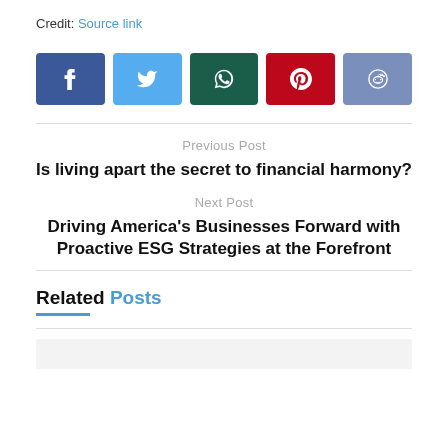Credit: Source link
[Figure (other): Row of social media share buttons: Facebook (dark blue), Twitter (light blue), WhatsApp (dark green), Pinterest (red), Reddit (steel blue)]
Previous Post
Is living apart the secret to financial harmony?
Next Post
Driving America's Businesses Forward with Proactive ESG Strategies at the Forefront
Related Posts